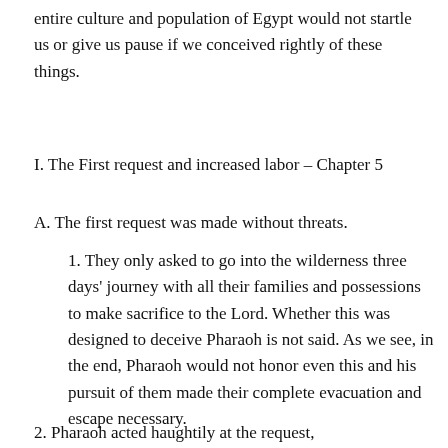entire culture and population of Egypt would not startle us or give us pause if we conceived rightly of these things.
I. The First request and increased labor – Chapter 5
A. The first request was made without threats.
1. They only asked to go into the wilderness three days' journey with all their families and possessions to make sacrifice to the Lord. Whether this was designed to deceive Pharaoh is not said. As we see, in the end, Pharaoh would not honor even this and his pursuit of them made their complete evacuation and escape necessary.
2. Pharaoh acted haughtily at the request,